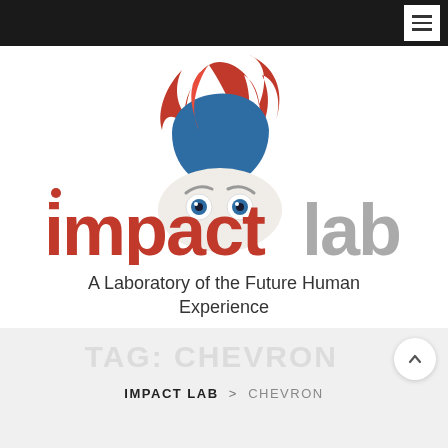Navigation bar with hamburger menu
[Figure (logo): Impact Lab logo: stylized face with flame hair, text 'impact' in red and 'lab' in gray, with eyebrow and eye details embedded in letters]
A Laboratory of the Future Human Experience
TAG: CHEVRON
IMPACT LAB  >  CHEVRON